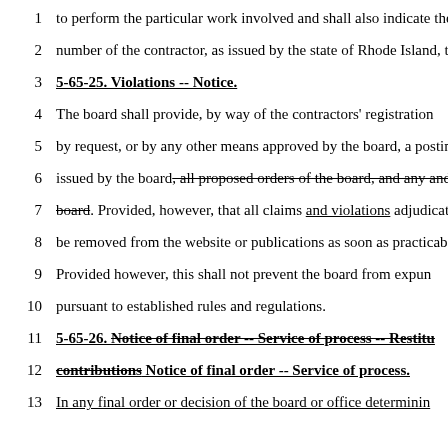1    to perform the particular work involved and shall also indicate the
2    number of the contractor, as issued by the state of Rhode Island, t
3    5-65-25. Violations -- Notice.
4    The board shall provide, by way of the contractors' registration
5    by request, or by any other means approved by the board, a postin
6    issued by the board, all proposed orders of the board, and any and
7    board. Provided, however, that all claims and violations adjudicat
8    be removed from the website or publications as soon as practicab
9    Provided however, this shall not prevent the board from expun
10   pursuant to established rules and regulations.
11   5-65-26. Notice of final order -- Service of process -- Restitu
12   contributions Notice of final order -- Service of process.
13   In any final order or decision of the board or office determinin